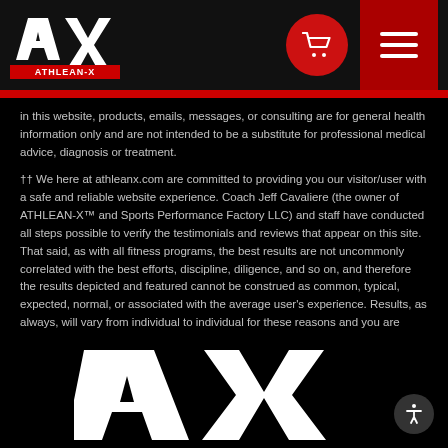[Figure (logo): ATHLEAN-X logo — white AX lettermark with red ATHLEAN-X wordmark below, on dark background]
[Figure (other): Red circular cart/shopping icon button and dark red hamburger menu button in navigation bar]
in this website, products, emails, messages, or consulting are for general health information only and are not intended to be a substitute for professional medical advice, diagnosis or treatment.
†† We here at athleanx.com are committed to providing you our visitor/user with a safe and reliable website experience. Coach Jeff Cavaliere (the owner of ATHLEAN-X™ and Sports Performance Factory LLC) and staff have conducted all steps possible to verify the testimonials and reviews that appear on this site. That said, as with all fitness programs, the best results are not uncommonly correlated with the best efforts, discipline, diligence, and so on, and therefore the results depicted and featured cannot be construed as common, typical, expected, normal, or associated with the average user's experience. Results, as always, will vary from individual to individual for these reasons and you are responsible for understanding that atypical outcomes may not reflect your experience.
[Figure (logo): Large AX Athlean-X logo mark in white at the bottom of the page]